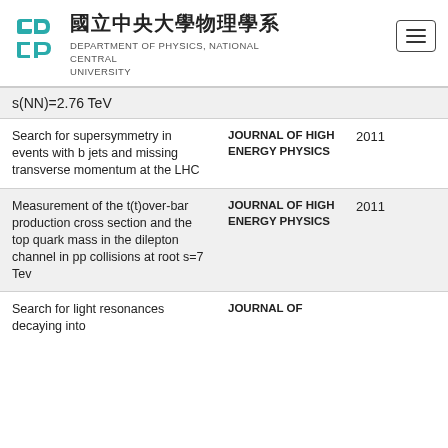國立中央大學物理學系 DEPARTMENT OF PHYSICS, NATIONAL CENTRAL UNIVERSITY
s(NN)=2.76 TeV
| Title | Journal | Year |
| --- | --- | --- |
| Search for supersymmetry in events with b jets and missing transverse momentum at the LHC | JOURNAL OF HIGH ENERGY PHYSICS | 2011 |
| Measurement of the t(t)over-bar production cross section and the top quark mass in the dilepton channel in pp collisions at root s=7 Tev | JOURNAL OF HIGH ENERGY PHYSICS | 2011 |
| Search for light resonances decaying into | JOURNAL OF |  |